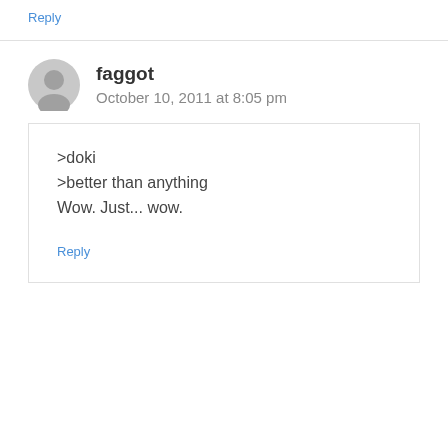Reply
faggot
October 10, 2011 at 8:05 pm
>doki
>better than anything
Wow. Just... wow.
Reply